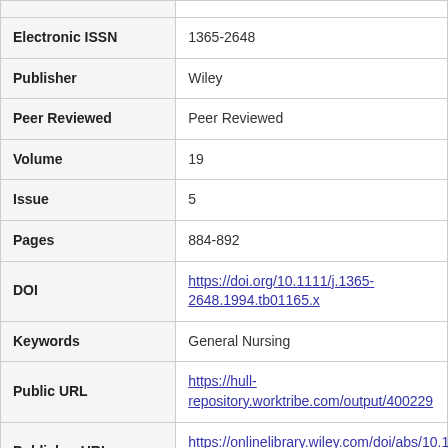| Field | Value |
| --- | --- |
| Electronic ISSN | 1365-2648 |
| Publisher | Wiley |
| Peer Reviewed | Peer Reviewed |
| Volume | 19 |
| Issue | 5 |
| Pages | 884-892 |
| DOI | https://doi.org/10.1111/j.1365-2648.1994.tb01165.x |
| Keywords | General Nursing |
| Public URL | https://hull-repository.worktribe.com/output/400229 |
| Publisher URL | https://onlinelibrary.wiley.com/doi/abs/10.1111/j.1365-2648.1994.tb01165.x |